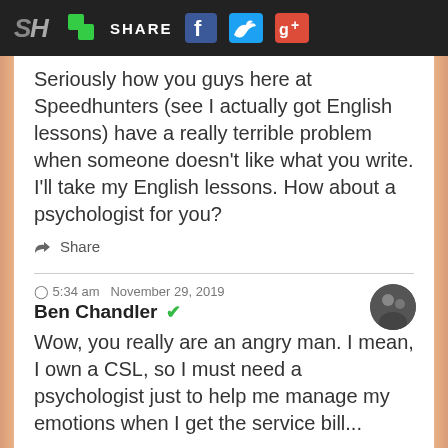SH | SHARE
Seriously how you guys here at Speedhunters (see I actually got English lessons) have a really terrible problem when someone doesn't like what you write. I'll take my English lessons. How about a psychologist for you?
Share
5:34 am  November 29, 2019
Ben Chandler
Wow, you really are an angry man. I mean, I own a CSL, so I must need a psychologist just to help me manage my emotions when I get the service bill...